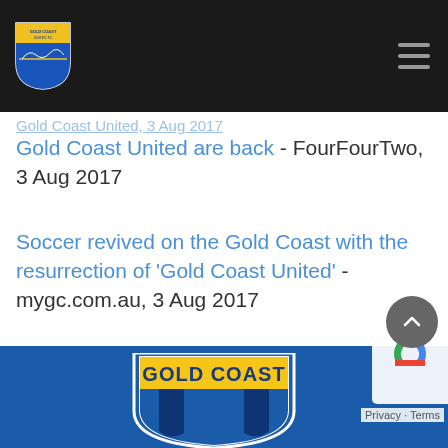Gold Coast United FC website header with logo and navigation
Gold Coast United are back - FourFourTwo, 3 Aug 2017
Soccer revived on the Gold Coast with the resurrection of 'Gold Coast United' - mygc.com.au, 3 Aug 2017
[Figure (logo): Gold Coast United FC crest/shield logo and footer blue background with partial Gold Coast logo]
Privacy Terms